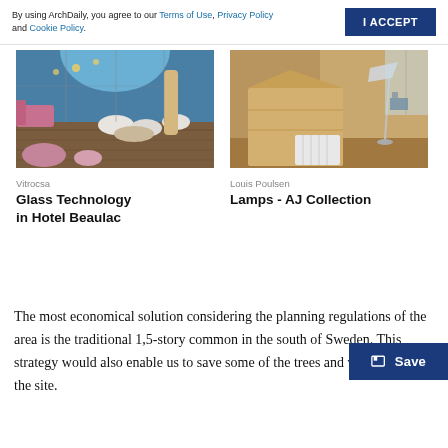By using ArchDaily, you agree to our Terms of Use, Privacy Policy and Cookie Policy.
[Figure (photo): Interior photo of Hotel Beaulac showing lounge area with large arched glass windows, seating with pink cushions, and patterned ottomans on hardwood floor.]
[Figure (photo): Interior photo showing a wooden room divider or desk with a floor lamp (AJ Collection by Louis Poulsen) and white radiator against warm wood-paneled walls.]
Vitrocsa
Glass Technology in Hotel Beaulac
Louis Poulsen
Lamps - AJ Collection
The most economical solution considering the planning regulations of the area is the traditional 1,5-story common in the south of Sweden. This strategy would also enable us to save some of the trees and vegetation on the site.